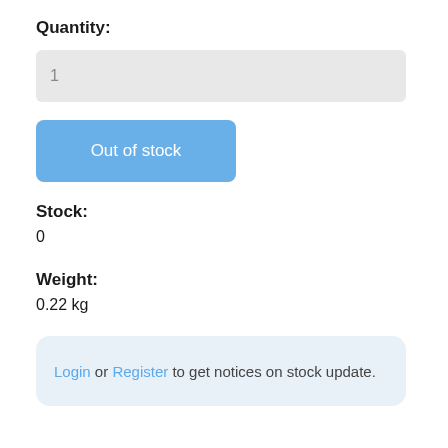Quantity:
1
Out of stock
Stock:
0
Weight:
0.22 kg
Login or Register to get notices on stock update.